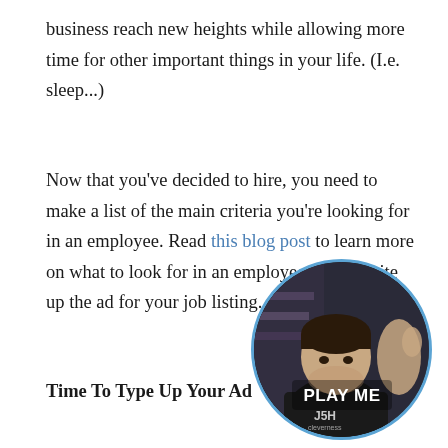business reach new heights while allowing more time for other important things in your life. (I.e. sleep...)
Now that you've decided to hire, you need to make a list of the main criteria you're looking for in an employee. Read this blog post to learn more on what to look for in an employee. Next, write up the ad for your job listing.
Time To Type Up Your Ad
[Figure (photo): Circular video widget showing a person with 'PLAY ME' text overlay and a close button, bordered with a blue circle]